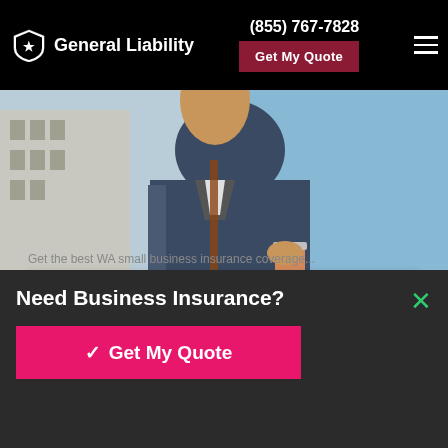General Liability | (855) 767-7828 | Get My Quote
[Figure (photo): Hero photo of a man in a blue jacket holding a coffee cup, walking in a city environment with buildings and blue sky in the background]
Buy Printers And Publishers Insurance Washington
☛ Get My Quote
Need Business Insurance?
✓ Get My Quote
Or call for your free quote:
(855) 801-0021
Get the best WA small business insurance coverage now